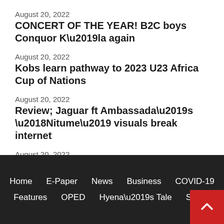August 20, 2022
CONCERT OF THE YEAR! B2C boys Conquor K’la again
August 20, 2022
Kobs learn pathway to 2023 U23 Africa Cup of Nations
August 20, 2022
Review; Jaguar ft Ambassada’s ‘Nitume’ visuals break internet
August 20, 2022
Home   E-Paper   News   Business   COVID-19   Features   OPED   Hyena’s Tale   Sports